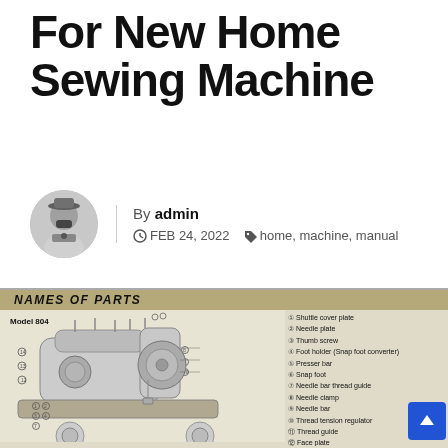For New Home Sewing Machine
By admin
FEB 24, 2022   home, machine, manual
[Figure (illustration): Diagram of a New Home Sewing Machine Model 804 with numbered parts and a list of part names including: 1 Shuttle cover plate, 2 Needle plate, 3 Thumb screw, 4 Foot holder (Snap foot converter), 5 Presser bar, 6 Snap foot, 7 Needle bar thread guide, 8 Needle clamp, 9 Needle bar, 10 Thread tension regulator, 11 Thread guide, 12 Face plate, 13 Chain stitch thread guide, 14 Take-up lever]
NAMES OF PARTS